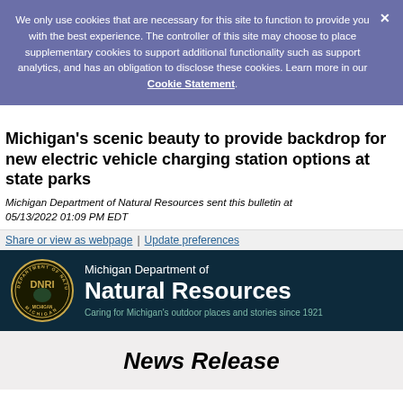We only use cookies that are necessary for this site to function to provide you with the best experience. The controller of this site may choose to place supplementary cookies to support additional functionality such as support analytics, and has an obligation to disclose these cookies. Learn more in our Cookie Statement.
Michigan's scenic beauty to provide backdrop for new electric vehicle charging station options at state parks
Michigan Department of Natural Resources sent this bulletin at 05/13/2022 01:09 PM EDT
Share or view as webpage  |  Update preferences
[Figure (logo): Michigan Department of Natural Resources logo and header banner with DNR circular seal on dark navy background. Text reads: Michigan Department of Natural Resources, Caring for Michigan's outdoor places and stories since 1921]
News Release
May 13, 2022